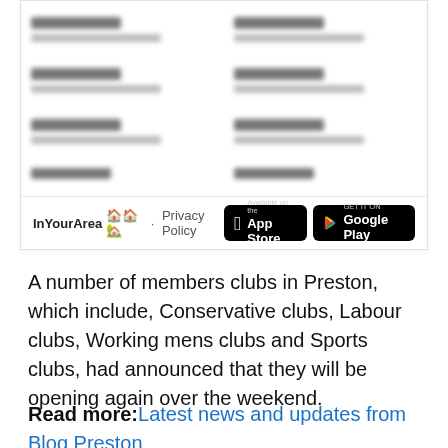[Figure (screenshot): InYourArea widget showing blurred news items in a two-column grid layout, with a footer containing the InYourArea brand name, Privacy Policy link, and App Store / Google Play download buttons.]
InYourArea · Privacy Policy
A number of members clubs in Preston, which include, Conservative clubs, Labour clubs, Working mens clubs and Sports clubs, had announced that they will be opening again over the weekend.
Read more: Latest news and updates from Blog Preston